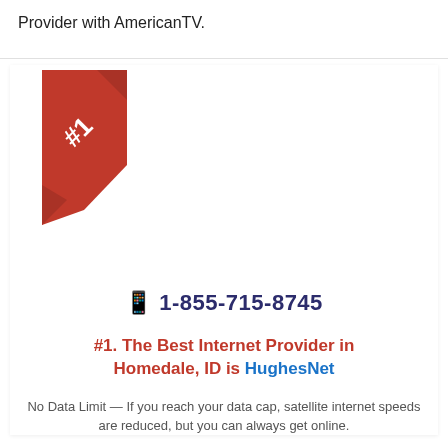Provider with AmericanTV.
[Figure (illustration): Red #1 ribbon/banner badge in the upper-left corner of a white box]
☎ 1-855-715-8745
#1. The Best Internet Provider in Homedale, ID is HughesNet
No Data Limit — If you reach your data cap, satellite internet speeds are reduced, but you can always get online.